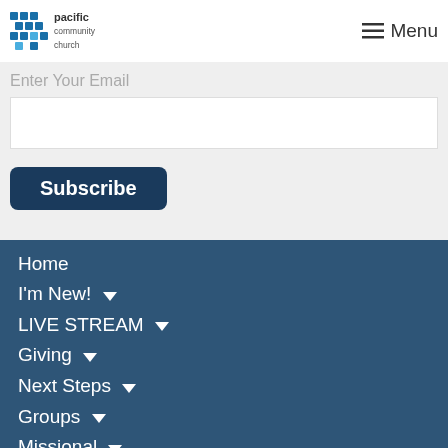Pacific Community Church — Menu
Enter Your Email
Subscribe
Home
I'm New!
LIVE STREAM
Giving
Next Steps
Groups
Missional
Events
Sermons
REPORT SEXUAL MISCONDUCT
Online Community